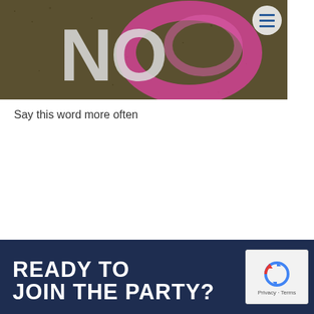[Figure (photo): Photo of pavement or ground with spray-painted word 'NO' in white/gray with pink spray paint swirl around it, with a circular menu button overlay in the top right corner]
Say this word more often
READY TO
JOIN THE PARTY?
[Figure (other): Google reCAPTCHA logo with Privacy · Terms links below]